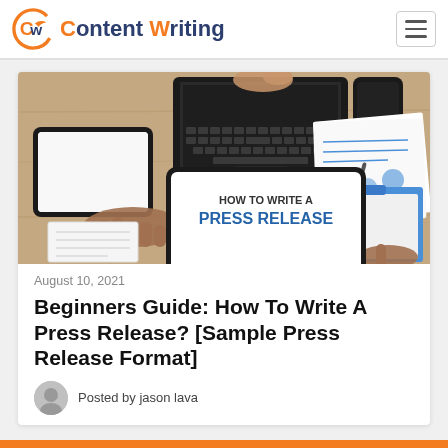Content Writing
[Figure (photo): Overhead view of a desk with people working on a laptop, tablet, phone, and papers, with a screen showing 'HOW TO WRITE A PRESS RELEASE' in the center]
August 10, 2021
Beginners Guide: How To Write A Press Release? [Sample Press Release Format]
Posted by jason lava